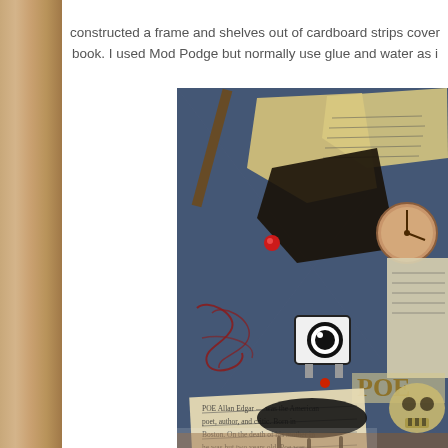constructed a frame and shelves out of cardboard strips covered with pages from an old book. I used Mod Podge but normally use glue and water as i
[Figure (photo): Artistic collage board with blue textured background, torn book pages, a clock face, skull ornament, eye graphic, red drip text, black ink splatter, and Edgar Allan Poe themed elements]